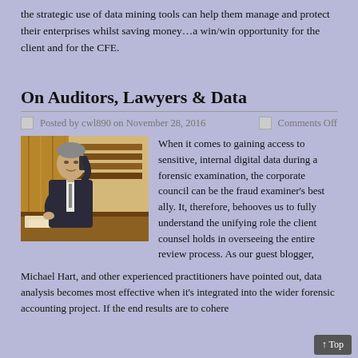the strategic use of data mining tools can help them manage and protect their enterprises whilst saving money…a win/win opportunity for the client and for the CFE.
On Auditors, Lawyers & Data
Posted by cwl890 on November 28, 2016   Comments Off
[Figure (photo): Man in suit sitting at a desk talking on the phone, surrounded by books and papers, in an office setting.]
When it comes to gaining access to sensitive, internal digital data during a forensic examination, the corporate council can be the fraud examiner's best ally.  It, therefore, behooves us to fully understand the unifying role the client counsel holds in overseeing the entire review process.  As our guest blogger, Michael Hart, and other experienced practitioners have pointed out, data analysis becomes most effective when it's integrated into the wider forensic accounting project.  If the end results are to cohere